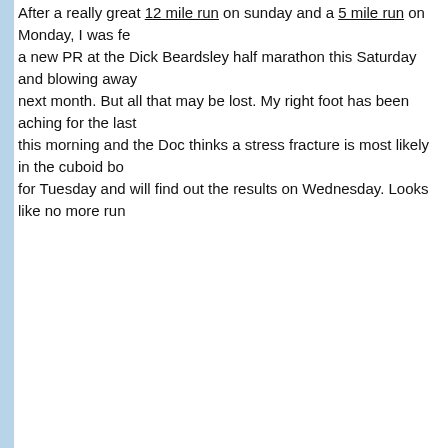After a really great 12 mile run on sunday and a 5 mile run on Monday, I was feeling great and was looking forward to setting a new PR at the Dick Beardsley half marathon this Saturday and blowing away my time at the Twin Cities marathon next month. But all that may be lost. My right foot has been aching for the last couple weeks. I visited the Doc this morning and the Doc thinks a stress fracture is most likely in the cuboid bone area. I have an MRI scheduled for Tuesday and will find out the results on Wednesday. Looks like no more run...
[Figure (photo): X-ray image of a human foot showing bones of the toes, metatarsals, and midfoot region. The image is in black and white (radiograph). There is white text in the upper right corner of the x-ray image.]